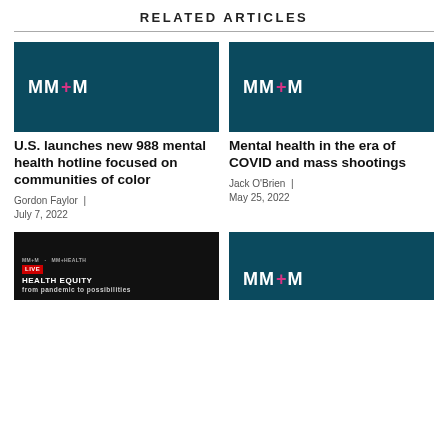RELATED ARTICLES
[Figure (logo): MM+M logo on teal background - article thumbnail]
U.S. launches new 988 mental health hotline focused on communities of color
Gordon Faylor | July 7, 2022
[Figure (logo): MM+M logo on teal background - article thumbnail]
Mental health in the era of COVID and mass shootings
Jack O'Brien | May 25, 2022
[Figure (photo): Dark background event thumbnail with HEALTH EQUITY text and LIVE badge]
[Figure (logo): MM+M logo on teal background - partial, bottom of page]